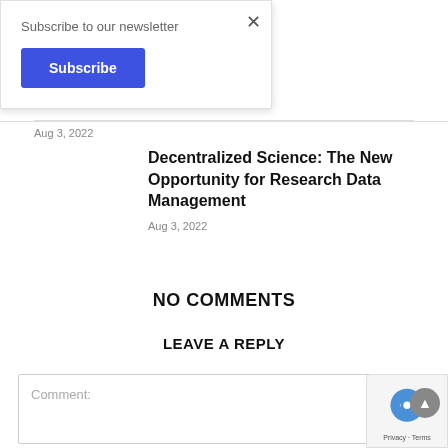Subscribe to our newsletter
Subscribe
Aug 3, 2022
Decentralized Science: The New Opportunity for Research Data Management
Aug 3, 2022
NO COMMENTS
LEAVE A REPLY
Comment: